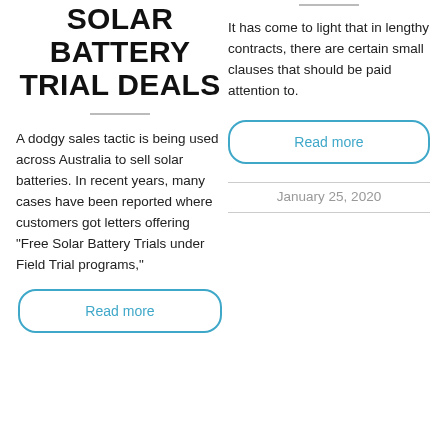SOLAR BATTERY TRIAL DEALS
A dodgy sales tactic is being used across Australia to sell solar batteries. In recent years, many cases have been reported where customers got letters offering "Free Solar Battery Trials under Field Trial programs,"
It has come to light that in lengthy contracts, there are certain small clauses that should be paid attention to.
Read more
January 25, 2020
Read more